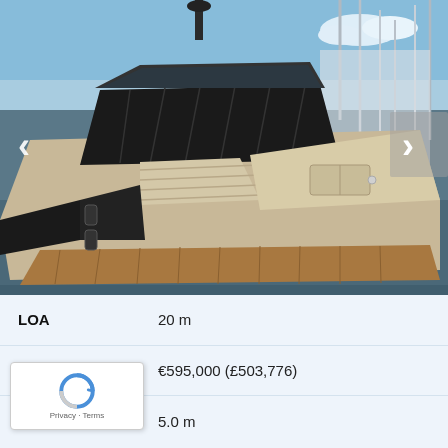[Figure (photo): Photo of a luxury motor yacht with black canvas cover on the cockpit area, beige/cream hull, moored at a marina. Navigation arrows visible on left and right sides. Sailboat masts and blue sky with clouds in background.]
| LOA | 20 m |
| P | €595,000 (£503,776) |
| Beam | 5.0 m |